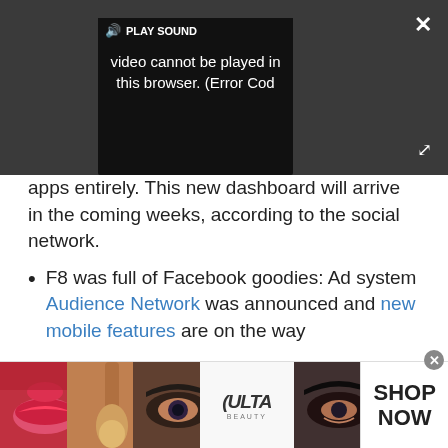[Figure (screenshot): Video player overlay showing 'PLAY SOUND' button with speaker icon, and error message: 'video cannot be played in this browser. (Error Cod' with close (X) and expand buttons on dark background.]
apps entirely. This new dashboard will arrive in the coming weeks, according to the social network.
F8 was full of Facebook goodies: Ad system Audience Network was announced and new mobile features are on the way
Kevin Lee
[Figure (photo): Advertisement banner at bottom showing makeup/beauty images and Ulta Beauty logo with 'SHOP NOW' text.]